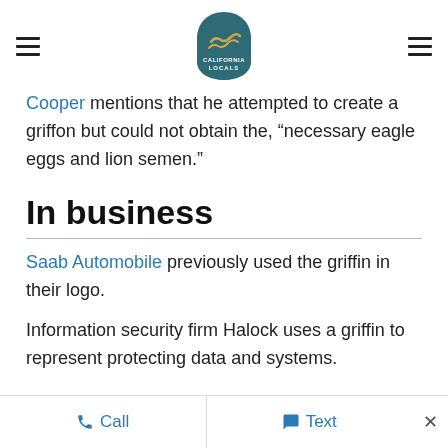[hamburger menu] California Locals logo [hamburger menu]
Cooper mentions that he attempted to create a griffon but could not obtain the, “necessary eagle eggs and lion semen.”
In business
Saab Automobile previously used the griffin in their logo.
Information security firm Halock uses a griffin to represent protecting data and systems.
Use for real animals
Call   Text   ×